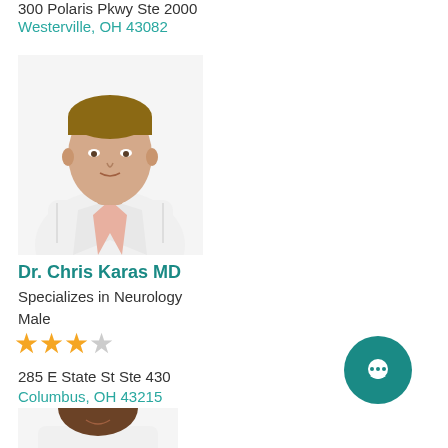300 Polaris Pkwy Ste 2000
Westerville, OH 43082
[Figure (photo): Headshot of Dr. Chris Karas MD wearing a white lab coat over a pink shirt, male doctor with light skin and short brown hair]
Dr. Chris Karas MD
Specializes in Neurology
Male
[Figure (other): 3.5 out of 5 stars rating shown as 3 filled orange stars and 1 empty/gray star]
285 E State St Ste 430
Columbus, OH 43215
[Figure (photo): Headshot of a male doctor with dark skin wearing a white lab coat, smiling, partially visible at the bottom of the page]
[Figure (other): Teal circular chat/message bubble icon in the bottom right corner]